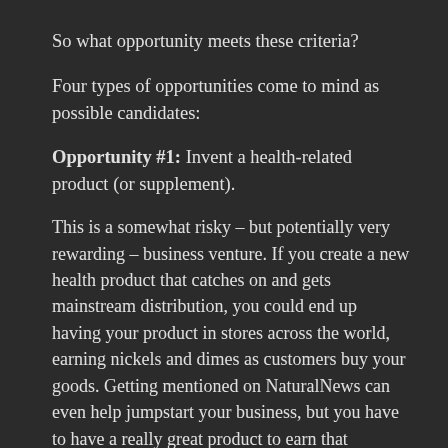So what opportunity meets these criteria?
Four types of opportunities come to mind as possible candidates:
Opportunity #1: Invent a health-related product (or supplement).
This is a somewhat risky – but potentially very rewarding – business venture. If you create a new health product that catches on and gets mainstream distribution, you could end up having your product in stores across the world, earning nickels and dimes as customers buy your goods. Getting mentioned on NaturalNews can even help jumpstart your business, but you have to have a really great product to earn that placement.